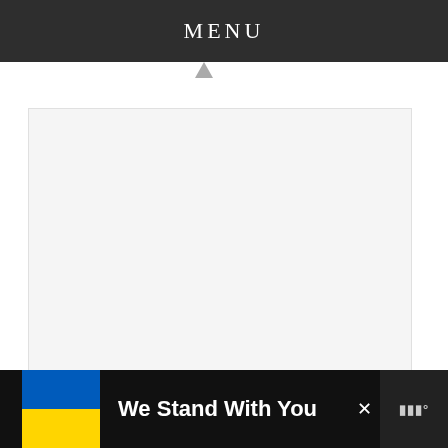MENU
[Figure (screenshot): Loading spinner area with three grey dots indicating content loading in progress]
[Figure (infographic): Heart (favourite) button - teal circular button with white heart icon]
[Figure (infographic): Share button - white circular button with share icon]
WHAT'S NEXT → Eye-Catching Sporty All...
We Stand With You